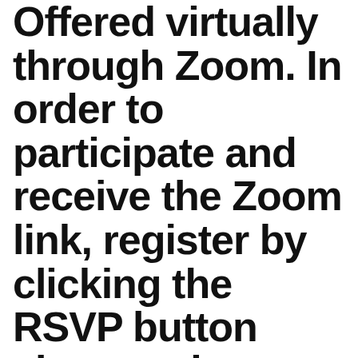Offered virtually through Zoom. In order to participate and receive the Zoom link, register by clicking the RSVP button above or by emailing programs@smithcenter.org
You will receive the Zoom information no later than the morning of your program.
with Jodi Kanter
[Figure (photo): Photo of a pen resting on a lined notepad, with reading glasses partially visible, on a light beige background]